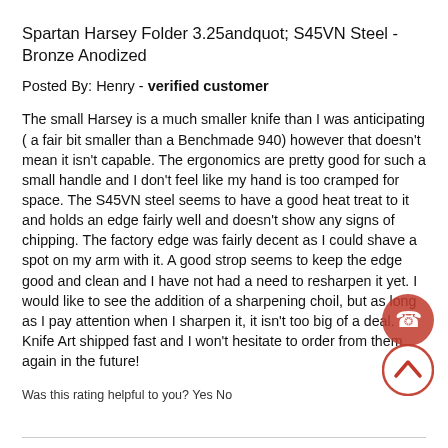Spartan Harsey Folder 3.25andquot; S45VN Steel - Bronze Anodized
Posted By: Henry - verified customer
The small Harsey is a much smaller knife than I was anticipating ( a fair bit smaller than a Benchmade 940) however that doesn't mean it isn't capable. The ergonomics are pretty good for such a small handle and I don't feel like my hand is too cramped for space. The S45VN steel seems to have a good heat treat to it and holds an edge fairly well and doesn't show any signs of chipping. The factory edge was fairly decent as I could shave a spot on my arm with it. A good strop seems to keep the edge good and clean and I have not had a need to resharpen it yet. I would like to see the addition of a sharpening choil, but as long as I pay attention when I sharpen it, it isn't too big of a deal. Knife Art shipped fast and I won't hesitate to order from them again in the future!
Was this rating helpful to you? Yes No